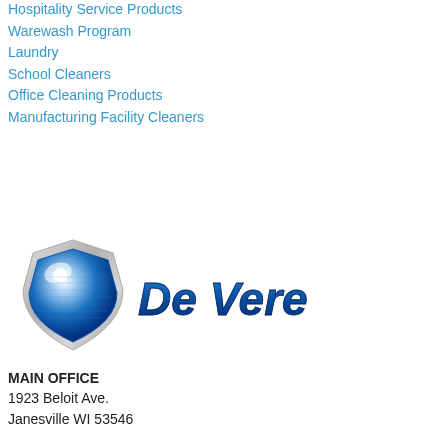Hospitality Service Products
Warewash Program
Laundry
School Cleaners
Office Cleaning Products
Manufacturing Facility Cleaners
[Figure (logo): De Vere company logo with blue shield emblem and stylized 'De Vere' text in blue gradient italic]
MAIN OFFICE
1923 Beloit Ave.
Janesville WI 53546